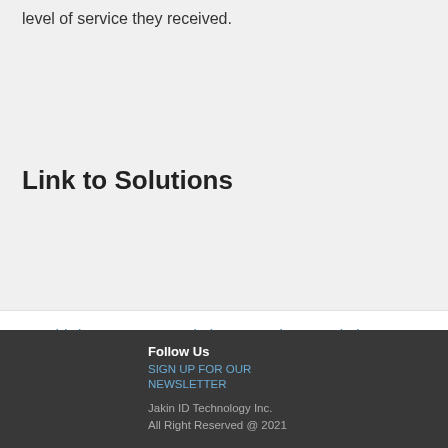level of service they received.
Link to Solutions
Third-Party Integrated Time Attendance Solution
Follow Us
SIGN UP FOR OUR NEWSLETTER
Jakin ID Technology Inc.
All Right Reserved @ 2021